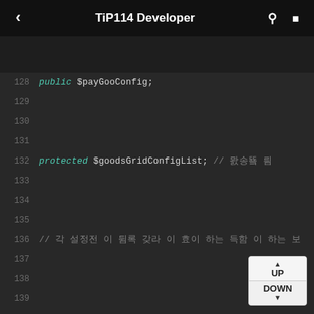TiP114 Developer
[Figure (screenshot): Code editor screenshot showing PHP class properties. Line 128: public $payGooConfig; Line 132: protected $goodsGridConfigList; // (Korean comment). Line 136: // (Korean comment line). Lines 144: /** Line 146: * (Korean comment). Line 148: */. Navigation widget with UP and DOWN buttons in bottom right corner.]